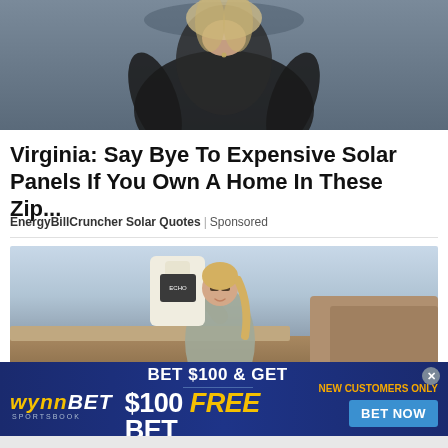[Figure (photo): Woman in black top seated in a chair, partial torso view with necklace visible]
Virginia: Say Bye To Expensive Solar Panels If You Own A Home In These Zip...
EnergyBillCruncher Solar Quotes | Sponsored
[Figure (photo): Woman outdoors holding a bag of product, smiling, wearing sunglasses, standing on a rocky landscape]
[Figure (infographic): WynnBet Sportsbook advertisement banner: BET $100 & GET $100 FREE BET. NEW CUSTOMERS ONLY. BET NOW button.]